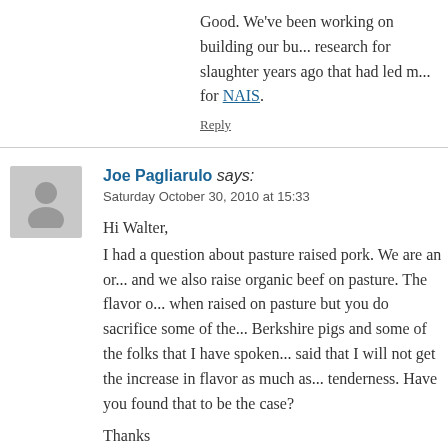Good. We've been working on building our bu... research for slaughter years ago that had led m... for NAIS.
Reply
Joe Pagliarulo says:
Saturday October 30, 2010 at 15:33
Hi Walter,
I had a question about pasture raised pork. We are an or... and we also raise organic beef on pasture. The flavor o... when raised on pasture but you do sacrifice some of the... Berkshire pigs and some of the folks that I have spoken... said that I will not get the increase in flavor as much as... tenderness. Have you found that to be the case?

Thanks
Joe